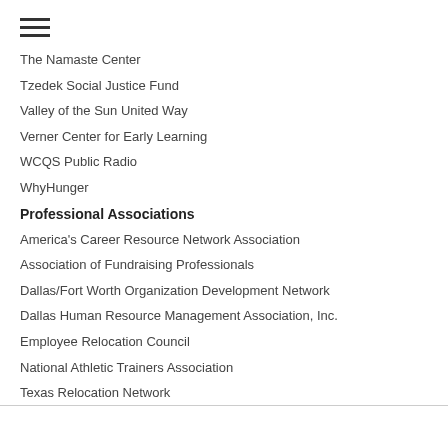[Figure (other): Hamburger menu icon (three horizontal lines)]
The Namaste Center
Tzedek Social Justice Fund
Valley of the Sun United Way
Verner Center for Early Learning
WCQS Public Radio
WhyHunger
Professional Associations
America's Career Resource Network Association
Association of Fundraising Professionals
Dallas/Fort Worth Organization Development Network
Dallas Human Resource Management Association, Inc.
Employee Relocation Council
National Athletic Trainers Association
Texas Relocation Network